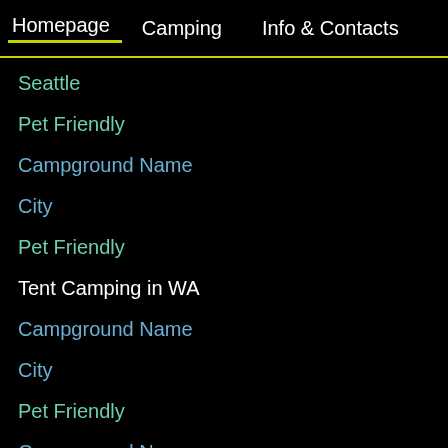Homepage   Camping   Info & Contacts
Seattle
Pet Friendly
Campground Name
City
Pet Friendly
Tent Camping in WA
Campground Name
City
Pet Friendly
Campground Name